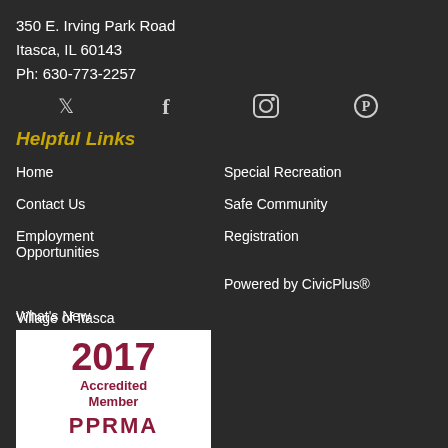350 E. Irving Park Road
Itasca, IL 60143
Ph: 630-773-2257
[Figure (infographic): Social media icons: Twitter, Facebook, Instagram, Pinterest]
Helpful Links
Home
Special Recreation
Contact Us
Safe Community
Employment Opportunities
Registration
What's New
Powered by CivicPlus®
Village of Itasca
[Figure (logo): 2017 Accredited Member badge/logo with red text on white background]